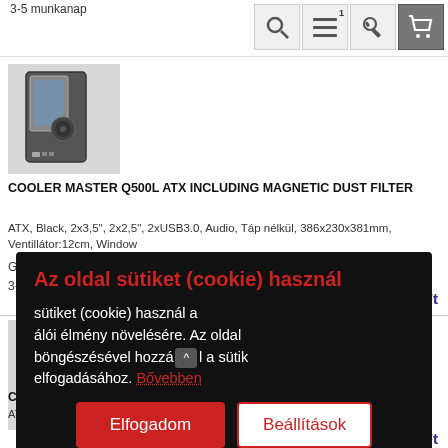3-5 munkanap
[Figure (screenshot): Toolbar with search, menu, key, and cart icons]
[Figure (photo): Cooler Master Q500L ATX PC case product image]
COOLER MASTER Q500L ATX INCLUDING MAGNETIC DUST FILTER
ATX, Black, 2x3,5", 2x2,5", 2xUSB3.0, Audio, Táp nélkül, 386x230x381mm, Ventillátor:12cm, Window
Garancia: 24 hónap
3-5 munkanap
35 435 Ft
[Figure (photo): Second PC case product image (partially visible)]
CO... BL...
ATX
498...
Ga...
3-5...
35 770 Ft
Az oldal sütiket (cookie) használ
sütiket (cookie) használ a 
álói élmény növelésére. Az oldal 
börögészésével hozzáj l a sütik
elfogadásához. Bővebben
Elfogadom  Beállítások